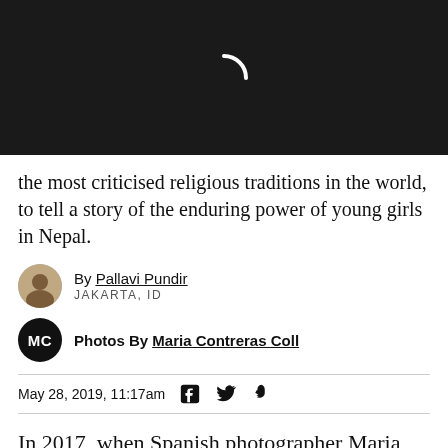[Figure (photo): Dark black header image with a white loading spinner arc in the center]
the most criticised religious traditions in the world, to tell a story of the enduring power of young girls in Nepal.
By Pallavi Pundir
JAKARTA, ID
Photos By Maria Contreras Coll
May 28, 2019, 11:17am
In 2017, when Spanish photographer Maria Contreras Coll went to Kathmandu, Nepal, she